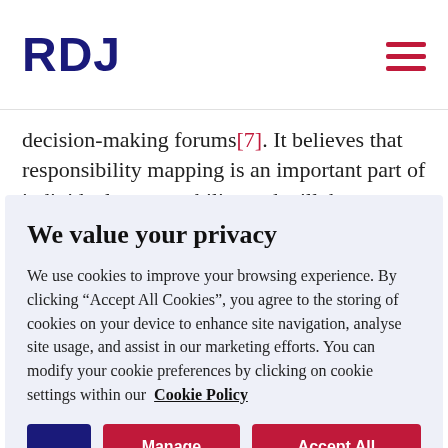RDJ
decision-making forums[7]. It believes that responsibility mapping is an important part of individual accountability and will, by strengthening
We value your privacy
We use cookies to improve your browsing experience. By clicking “Accept All Cookies”, you agree to the storing of cookies on your device to enhance site navigation, analyse site usage, and assist in our marketing efforts. You can modify your cookie preferences by clicking on cookie settings within our Cookie Policy
Aa | Manage Choices | Accept All Cookies